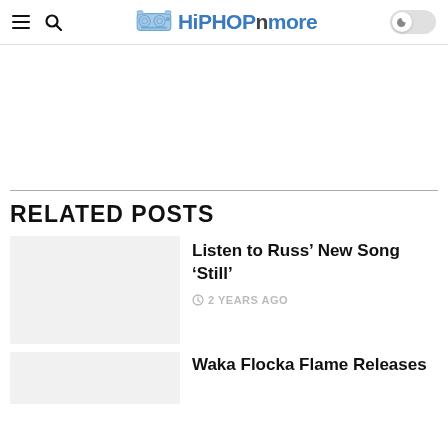HiPHOPnmore — site navigation header with hamburger menu, search icon, logo, and dark mode toggle
RELATED POSTS
Listen to Russ' New Song 'Still'
2 YEARS AGO
Waka Flocka Flame Releases